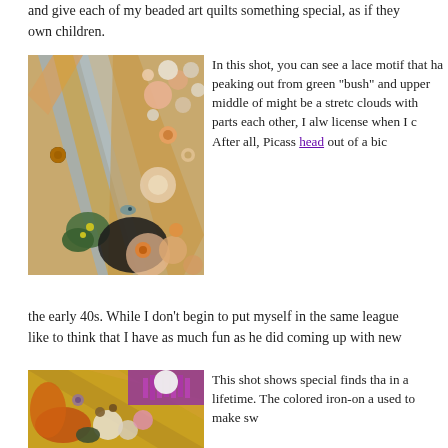and give each of my beaded art quilts something special, as if they were my own children.
[Figure (photo): Close-up photograph of a beaded art quilt showing colorful beads, buttons, lace motifs, flowers, and decorative embellishments in gold, pink, green, and silver tones.]
In this shot, you can see a lace motif that has a bird peaking out from a green "bush" and in the upper middle of the shot might be a stretch but I see clouds with parts overlapping each other, I always take artistic license when I create my art. After all, Picasso painted a head out of a bicycle seat in the early 40s. While I don't begin to put myself in the same league as him, I like to think that I have as much fun as he did coming up with new
[Figure (photo): Close-up photograph of a beaded art quilt showing colorful beads, buttons, and flowers in gold, purple, pink, orange, and green tones.]
This shot shows some special finds that are once in a lifetime. The gold colored iron-on a used to make sw